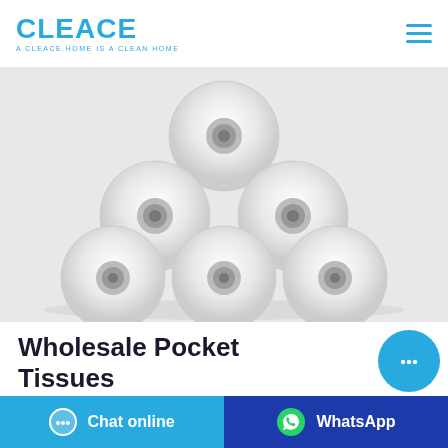[Figure (logo): CLEACE brand logo in blue with tagline 'A CLEACE HOME IS A CLEAN HOME']
[Figure (photo): Six rolls of white toilet/tissue paper arranged in a pyramid stack on a white surface]
Wholesale Pocket Tissues 3-Ply Facial 8-Packs - Nicole
[Figure (illustration): Floating round cyan chat button with ellipsis icon]
Chat online
WhatsApp